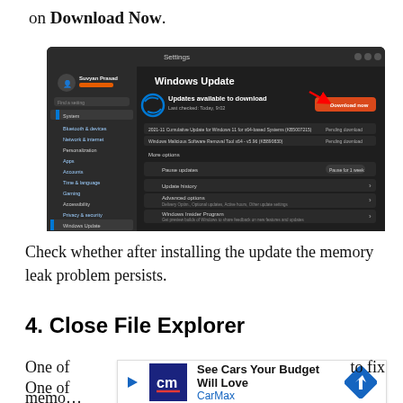on Download Now.
[Figure (screenshot): Windows Update settings screen (dark mode) showing 'Updates available to download' with a red arrow pointing to the 'Download now' button. Sidebar shows System, Bluetooth & devices, Network & internet, Personalization, Apps, Accounts, Time & language, Gaming, Accessibility, Privacy & security, Windows Update. Main panel shows two pending updates and More options including Pause updates, Update history, Advanced options, and Windows Insider Program.]
Check whether after installing the update the memory leak problem persists.
4. Close File Explorer
One of   [ad: See Cars Your Budget Will Love / CarMax]   to fix memo…